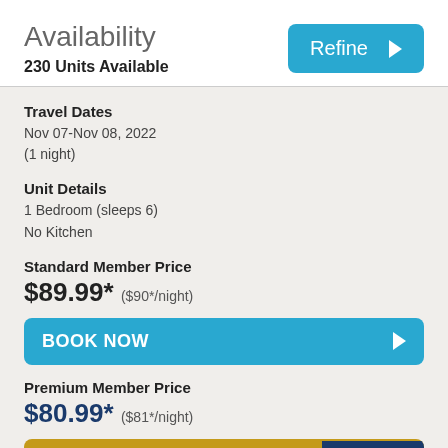Availability
230 Units Available
Travel Dates
Nov 07-Nov 08, 2022
(1 night)
Unit Details
1 Bedroom (sleeps 6)
No Kitchen
Standard Member Price
$89.99* ($90*/night)
BOOK NOW
Premium Member Price
$80.99* ($81*/night)
BOOK + UPGRADE